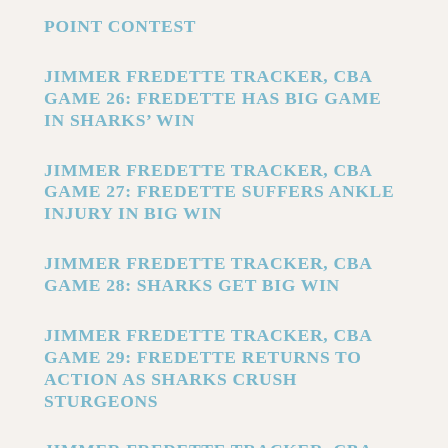POINT CONTEST
JIMMER FREDETTE TRACKER, CBA GAME 26: FREDETTE HAS BIG GAME IN SHARKS’ WIN
JIMMER FREDETTE TRACKER, CBA GAME 27: FREDETTE SUFFERS ANKLE INJURY IN BIG WIN
JIMMER FREDETTE TRACKER, CBA GAME 28: SHARKS GET BIG WIN
JIMMER FREDETTE TRACKER, CBA GAME 29: FREDETTE RETURNS TO ACTION AS SHARKS CRUSH STURGEONS
JIMMER FREDETTE TRACKER, CBA GAME 30: